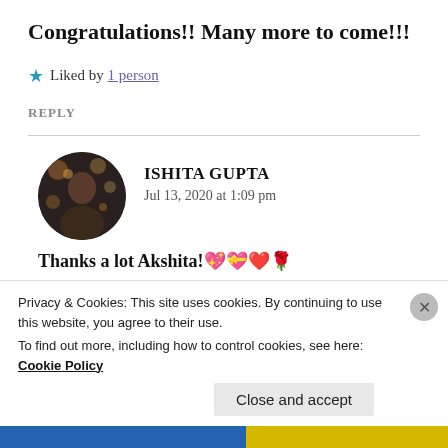Congratulations!! Many more to come!!!
★ Liked by 1 person
REPLY
[Figure (photo): Circular avatar photo of Ishita Gupta, showing a person with bokeh background]
ISHITA GUPTA
Jul 13, 2020 at 1:09 pm
Thanks a lot Akshita!💖💝❤️🌹
Privacy & Cookies: This site uses cookies. By continuing to use this website, you agree to their use.
To find out more, including how to control cookies, see here: Cookie Policy
Close and accept